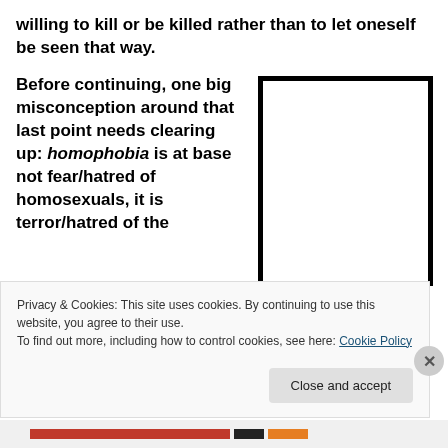willing to kill or be killed rather than to let oneself be seen that way.
Before continuing, one big misconception around that last point needs clearing up: homophobia is at base not fear/hatred of homosexuals, it is terror/hatred of the
[Figure (other): A blank white rectangle with a thick black border, serving as a placeholder image.]
Privacy & Cookies: This site uses cookies. By continuing to use this website, you agree to their use.
To find out more, including how to control cookies, see here: Cookie Policy